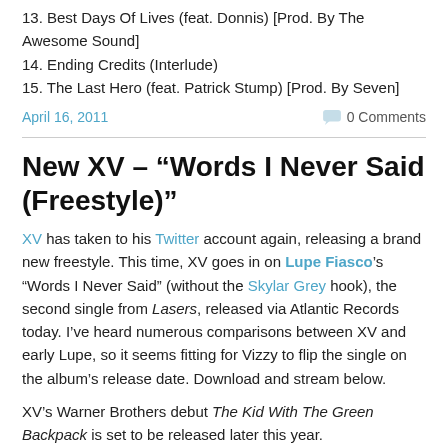13. Best Days Of Lives (feat. Donnis) [Prod. By The Awesome Sound]
14. Ending Credits (Interlude)
15. The Last Hero (feat. Patrick Stump) [Prod. By Seven]
April 16, 2011    0 Comments
New XV – “Words I Never Said (Freestyle)”
XV has taken to his Twitter account again, releasing a brand new freestyle. This time, XV goes in on Lupe Fiasco’s “Words I Never Said” (without the Skylar Grey hook), the second single from Lasers, released via Atlantic Records today. I’ve heard numerous comparisons between XV and early Lupe, so it seems fitting for Vizzy to flip the single on the album’s release date. Download and stream below.
XV’s Warner Brothers debut The Kid With The Green Backpack is set to be released later this year.
Couldn’t load plugin.